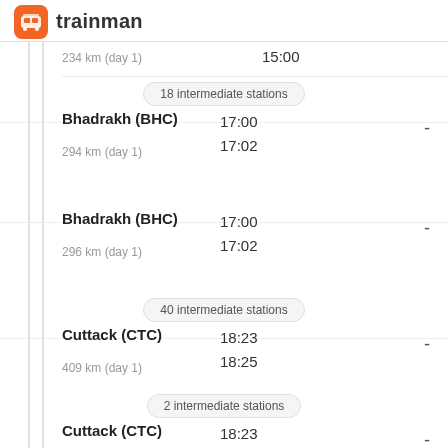tm trainman
234 km (day 1)   15:00
18 intermediate stations
Bhadrakh (BHC)   17:00 / 17:02   294 km (day 1)   -
Bhadrakh (BHC)   17:00 / 17:02   296 km (day 1)   -
40 intermediate stations
Cuttack (CTC)   18:23 / 18:25   409 km (day 1)   -
2 intermediate stations
Cuttack (CTC)   18:23 / 18:25   412 km (day 1)   -